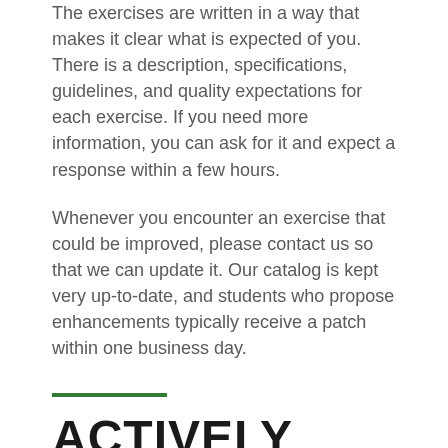The exercises are written in a way that makes it clear what is expected of you. There is a description, specifications, guidelines, and quality expectations for each exercise. If you need more information, you can ask for it and expect a response within a few hours.
Whenever you encounter an exercise that could be improved, please contact us so that we can update it. Our catalog is kept very up-to-date, and students who propose enhancements typically receive a patch within one business day.
ACTIVELY MAINTAINED COURSE
This course is actively maintained to ensure that it is